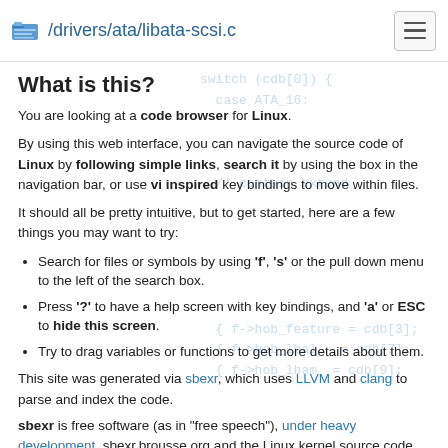/drivers/ata/libata-scsi.c
What is this?
You are looking at a code browser for Linux.
By using this web interface, you can navigate the source code of Linux by following simple links, search it by using the box in the navigation bar, or use vi inspired key bindings to move within files.
It should all be pretty intuitive, but to get started, here are a few things you may want to try:
Search for files or symbols by using 'f', 's' or the pull down menu to the left of the search box.
Press '?' to have a help screen with key bindings, and 'a' or ESC to hide this screen.
Try to drag variables or functions to get more details about them.
This site was generated via sbexr, which uses LLVM and clang to parse and index the code.
sbexr is free software (as in "free speech"), under heavy development, sbexr.brousse.org and the Linux kernel source code